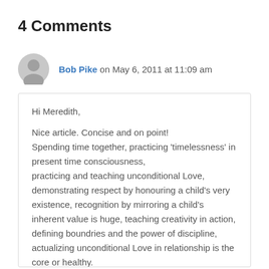4 Comments
Bob Pike on May 6, 2011 at 11:09 am
Hi Meredith,

Nice article. Concise and on point!
Spending time together, practicing 'timelessness' in present time consciousness,
practicing and teaching unconditional Love,
demonstrating respect by honouring a child's very existence, recognition by mirroring a child's inherent value is huge, teaching creativity in action, defining boundries and the power of discipline, actualizing unconditional Love in relationship is the core or healthy.
It would be true that a mom practicing these attrybutoes would be showing resoursfulness to her